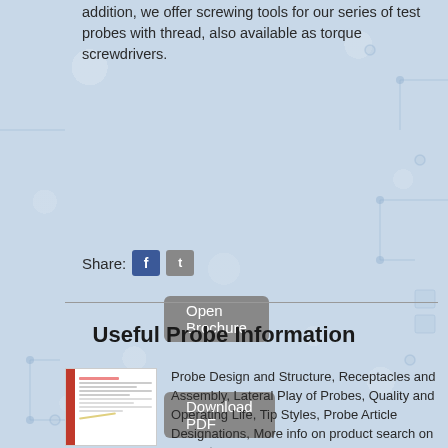addition, we offer screwing tools for our series of test probes with thread, also available as torque screwdrivers.
[Figure (screenshot): Open Brochure button (grey rounded rectangle with white text)]
[Figure (screenshot): Download PDF button (grey rounded rectangle with white text)]
Share: [Facebook icon] [Twitter icon]
Useful Probe Information
Probe Design and Structure, Receptacles and Assembly, Lateral Play of Probes, Quality and Operating Life, Tip Styles, Probe Article Designations, More info on product search on www.ptr.eu
[Figure (screenshot): Thumbnail image of a brochure document with red spine and text columns]